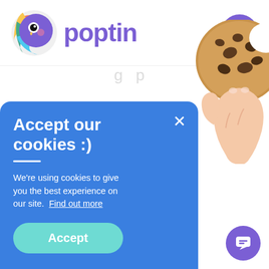[Figure (logo): Poptin logo: colorful parrot bird icon on the left, purple text 'poptin' on the right]
[Figure (other): Purple circular hamburger menu button with three white horizontal lines]
Babagan
Blog
Popup
[Figure (screenshot): Cookie consent popup (blue background) with title 'Accept our cookies :)', body text 'We're using cookies to give you the best experience on our site. Find out more', Accept button, close X button, and a hand holding a chocolate chip cookie image]
[Figure (other): Purple circular chat/support button in bottom right corner]